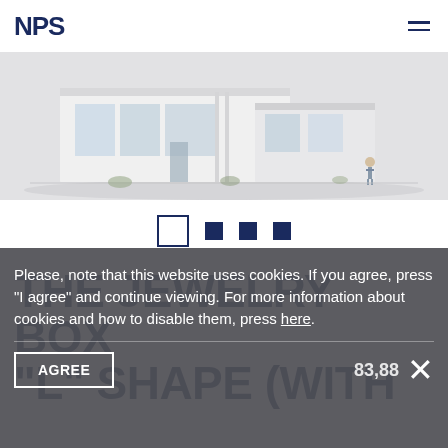NPS
[Figure (photo): 3D architectural render of a modern flat-roofed building with white exterior and large windows, viewed from an elevated angle against a light grey background]
[Figure (infographic): Carousel navigation dots: one empty square outline followed by three filled dark navy squares]
THE JEWELRY BOX "L" SHAPE (WITH
Please, note that this website uses cookies. If you agree, press "I agree" and continue viewing. For more information about cookies and how to disable them, press here.
AGREE
83,88